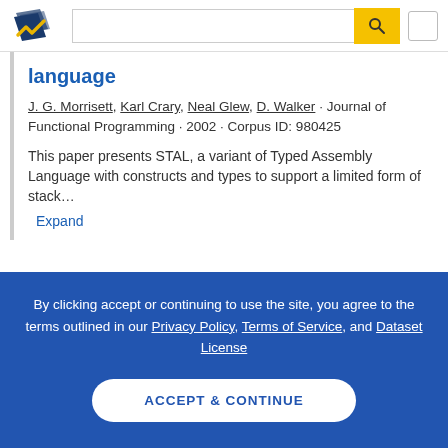Semantic Scholar search header with logo and search bar
language
J. G. Morrisett, Karl Crary, Neal Glew, D. Walker · Journal of Functional Programming · 2002 · Corpus ID: 980425
This paper presents STAL, a variant of Typed Assembly Language with constructs and types to support a limited form of stack…
Expand
By clicking accept or continuing to use the site, you agree to the terms outlined in our Privacy Policy, Terms of Service, and Dataset License
ACCEPT & CONTINUE